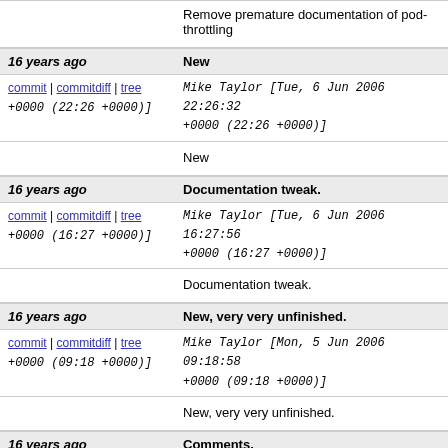Remove premature documentation of pod-throttling
| 16 years ago | New |
| commit | commitdiff | tree +0000 (22:26 +0000) | Mike Taylor [Tue, 6 Jun 2006 22:26:32 +0000 (22:26 +0000)] |
|  | New |
| 16 years ago | Documentation tweak. |
| commit | commitdiff | tree +0000 (16:27 +0000) | Mike Taylor [Tue, 6 Jun 2006 16:27:56 +0000 (16:27 +0000)] |
|  | Documentation tweak. |
| 16 years ago | New, very very unfinished. |
| commit | commitdiff | tree +0000 (09:18 +0000) | Mike Taylor [Mon, 5 Jun 2006 09:18:58 +0000 (09:18 +0000)] |
|  | New, very very unfinished. |
| 16 years ago | Comments. |